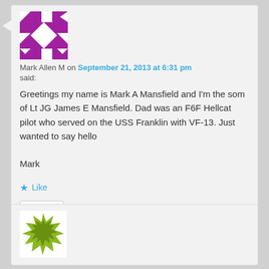[Figure (illustration): Purple and white geometric quilt pattern avatar with triangles arranged in a square]
Mark Allen M on September 21, 2013 at 6:31 pm
said:
Greetings my name is Mark A Mansfield and I'm the som of Lt JG James E Mansfield. Dad was an F6F Hellcat pilot who served on the USS Franklin with VF-13. Just wanted to say hello

Mark
Like
Reply ↓
[Figure (illustration): Green and yellow jagged/exploding shape avatar]